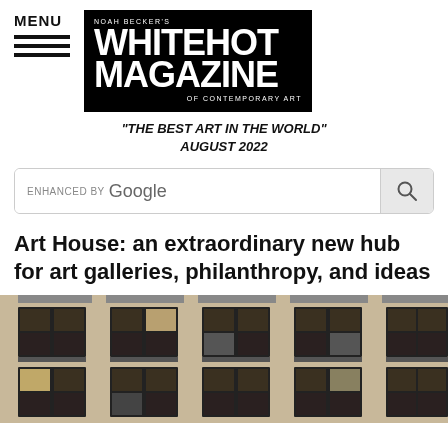MENU
[Figure (logo): Noah Becker's Whitehot Magazine of Contemporary Art logo — white text on black background]
"THE BEST ART IN THE WORLD" AUGUST 2022
[Figure (screenshot): Google search bar with ENHANCED BY label and magnifying glass search button]
Art House: an extraordinary new hub for art galleries, philanthropy, and ideas
[Figure (photo): Exterior facade of a multi-story building with large windows, balconies, and stone cladding]